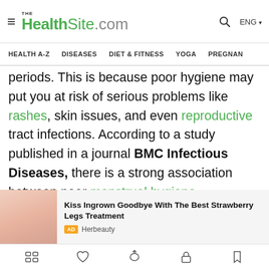TheHealthSite.com — HEALTH A-Z  DISEASES  DIET & FITNESS  YOGA  PREGNAN…
periods. This is because poor hygiene may put you at risk of serious problems like rashes, skin issues, and even reproductive tract infections. According to a study published in a journal BMC Infectious Diseases, there is a strong association between poor menstrual hygiene management practices and lower reproductive tract infections like Bacterial vaginosis (BV), Candida, and Trichomonas vaginalis (TV). We care for you and so we have listed some
[Figure (screenshot): Advertisement banner for 'Kiss Ingrown Goodbye With The Best Strawberry Legs Treatment' by Herbeauty, with a skin image on the left]
Bottom navigation icon bar